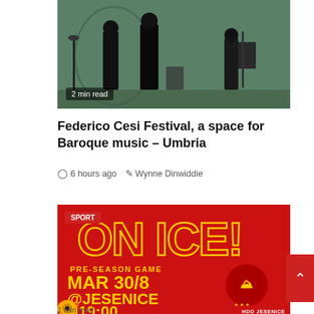[Figure (photo): Concert scene with silhouetted musicians on a green-lit stage with music stands]
2 min read
Federico Cesi Festival, a space for Baroque music – Umbria
6 hours ago  Wynne Dinwiddie
[Figure (photo): Sports promotional image on red background with text ON ICE! PRE-SEASON GAME MAR 30/8 @JESENICE H19:00, HDO Jesenice logo, SPORT badge]
1 min read